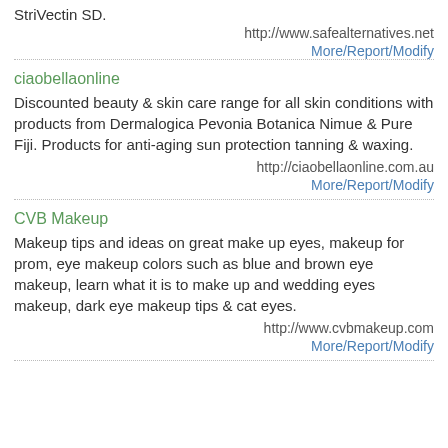StriVectin SD.
http://www.safealternatives.net
More/Report/Modify
ciaobellaonline
Discounted beauty & skin care range for all skin conditions with products from Dermalogica Pevonia Botanica Nimue & Pure Fiji. Products for anti-aging sun protection tanning & waxing.
http://ciaobellaonline.com.au
More/Report/Modify
CVB Makeup
Makeup tips and ideas on great make up eyes, makeup for prom, eye makeup colors such as blue and brown eye makeup, learn what it is to make up and wedding eyes makeup, dark eye makeup tips & cat eyes.
http://www.cvbmakeup.com
More/Report/Modify